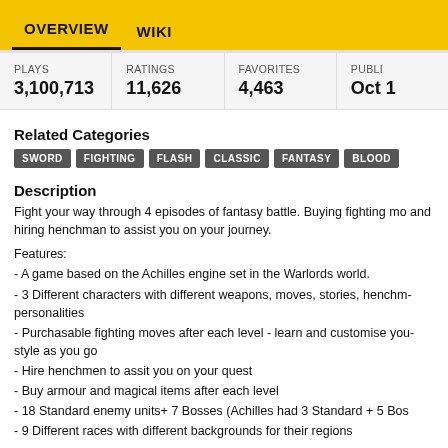OVERVIEW   WIKI
| PLAYS | RATINGS | FAVORITES | PUBLI... |
| --- | --- | --- | --- |
| 3,100,713 | 11,626 | 4,463 | Oct 1 |
Related Categories
SWORD  FIGHTING  FLASH  CLASSIC  FANTASY  BLOOD
Description
Fight your way through 4 episodes of fantasy battle. Buying fighting mo... and hiring henchman to assist you on your journey.
Features:
- A game based on the Achilles engine set in the Warlords world.
- 3 Different characters with different weapons, moves, stories, henchm... personalities
- Purchasable fighting moves after each level - learn and customise you... style as you go
- Hire henchmen to assit you on your quest
- Buy armour and magical items after each level
- 18 Standard enemy units+ 7 Bosses (Achilles had 3 Standard + 5 Bos...
- 9 Different races with different backgrounds for their regions